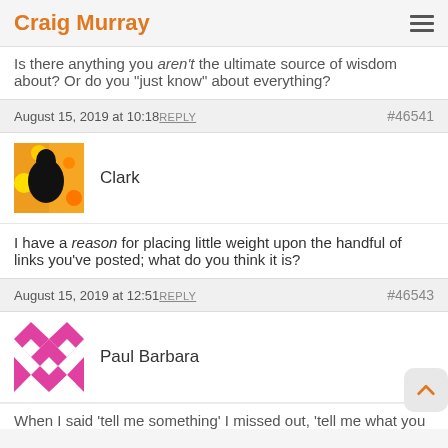Craig Murray
Is there anything you aren't the ultimate source of wisdom about? Or do you "just know" about everything?
August 15, 2019 at 10:18  REPLY  #46541
Clark
I have a reason for placing little weight upon the handful of links you've posted; what do you think it is?
August 15, 2019 at 12:51  REPLY  #46543
Paul Barbara
When I said 'tell me something' I missed out, 'tell me what you